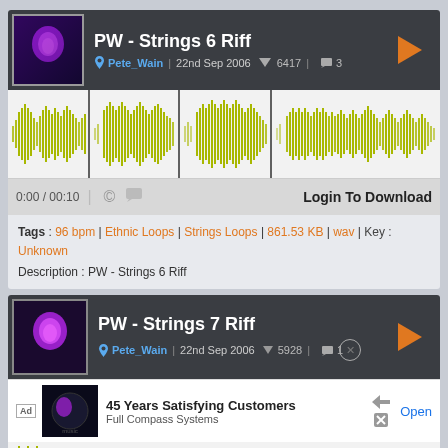PW - Strings 6 Riff
Pete_Wain | 22nd Sep 2006 ▼ 6417 | 💬 3
[Figure (other): Audio waveform visualization for PW - Strings 6 Riff, yellow-green waveform on white background with vertical black markers]
0:00 / 00:10 © 💬 Login To Download
Tags : 96 bpm | Ethnic Loops | Strings Loops | 861.53 KB | wav | Key : Unknown
Description : PW - Strings 6 Riff
PW - Strings 7 Riff
Pete_Wain | 22nd Sep 2006 ▼ 5928 | 💬 1
[Figure (other): Advertisement: 45 Years Satisfying Customers - Full Compass Systems]
[Figure (other): Partial audio waveform for PW - Strings 7 Riff]